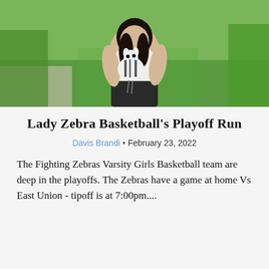[Figure (photo): A young woman holding a stuffed zebra toy, standing outdoors with green grass and landscaping in the background. She is wearing a white top and dark shorts.]
Lady Zebra Basketball's Playoff Run
Davis Brandi • February 23, 2022
The Fighting Zebras Varsity Girls Basketball team are deep in the playoffs. The Zebras have a game at home Vs East Union - tipoff is at 7:00pm....